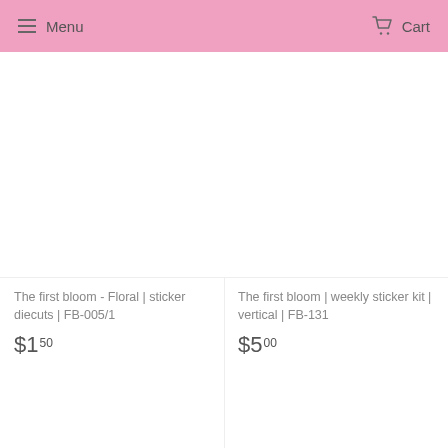Menu  Cart
The first bloom - Floral | sticker diecuts | FB-005/1
$1.50
The first bloom | weekly sticker kit | vertical | FB-131
$5.00